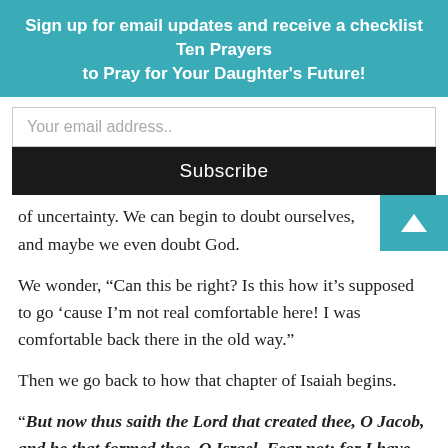Sign up for email updates and receive a checklist Ten Prayers to Pray for Your Daughter's Future!
Your email address..
Subscribe
of uncertainty. We can begin to doubt ourselves, and maybe we even doubt God.
We wonder, “Can this be right? Is this how it’s supposed to go ‘cause I’m not real comfortable here! I was comfortable back there in the old way.”
Then we go back to how that chapter of Isaiah begins.
“But now thus saith the Lord that created thee, O Jacob, and he that formed thee, O Israel, Fear not: for I have redeemed thee, I